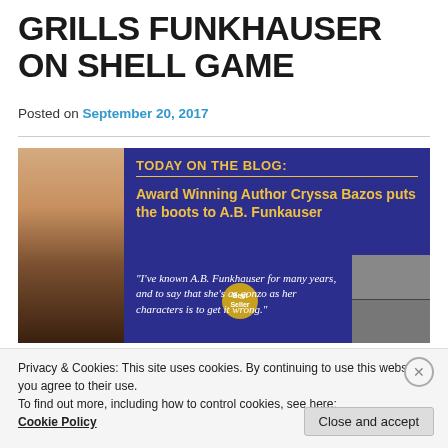GRILLS FUNKHAUSER ON SHELL GAME
Posted on September 20, 2017
[Figure (photo): Blog banner image with author photo on left and dark blue panel on right featuring text: 'TODAY ON THE BLOG: Award Winning Author Cryssa Bazos puts the boots to A.B. Funkauser' and a quote 'I've known A.B. Funkhauser for many years, and to say that she's as gonzo as her characters is to get it wrong.' with Best Seller badge and secondary photo.]
Privacy & Cookies: This site uses cookies. By continuing to use this website, you agree to their use.
To find out more, including how to control cookies, see here:
Cookie Policy
Close and accept